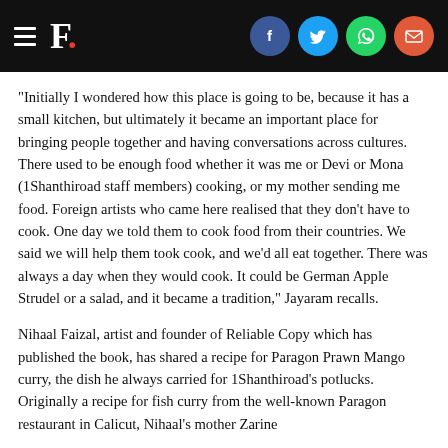F. [logo with social share icons: Facebook, Twitter, WhatsApp, Email]
“Initially I wondered how this place is going to be, because it has a small kitchen, but ultimately it became an important place for bringing people together and having conversations across cultures. There used to be enough food whether it was me or Devi or Mona (1Shanthiroad staff members) cooking, or my mother sending me food. Foreign artists who came here realised that they don’t have to cook. One day we told them to cook food from their countries. We said we will help them took cook, and we’d all eat together. There was always a day when they would cook. It could be German Apple Strudel or a salad, and it became a tradition,” Jayaram recalls.
Nihaal Faizal, artist and founder of Reliable Copy which has published the book, has shared a recipe for Paragon Prawn Mango curry, the dish he always carried for 1Shanthiroad’s potlucks. Originally a recipe for fish curry from the well-known Paragon restaurant in Calicut, Nihaal’s mother Zarine